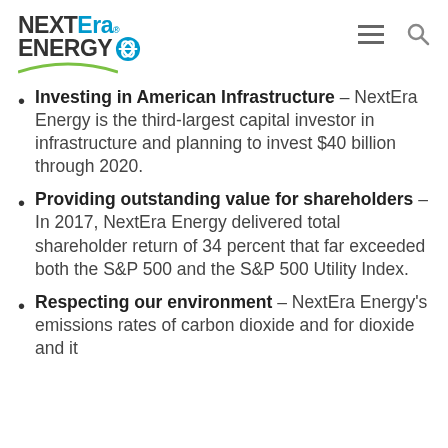NextEra Energy logo with navigation menu and search icons
Investing in American Infrastructure – NextEra Energy is the third-largest capital investor in infrastructure and planning to invest $40 billion through 2020.
Providing outstanding value for shareholders – In 2017, NextEra Energy delivered total shareholder return of 34 percent that far exceeded both the S&P 500 and the S&P 500 Utility Index.
Respecting our environment – NextEra Energy's emissions rates of carbon dioxide and for dioxide and it...